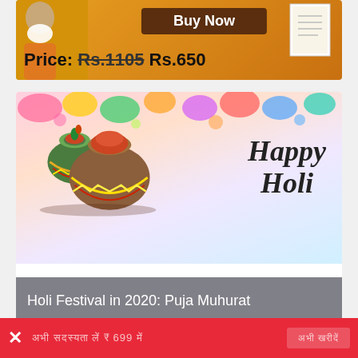[Figure (illustration): Top banner with Buy Now button and price: Rs.1105 crossed out, Rs.650 new price, on orange background with a person's image]
[Figure (illustration): Happy Holi festival illustration with colorful pots and text 'Happy Holi' with title bar 'Holi Festival in 2020: Puja Muhurat']
Know when the festival of colors, Holi, is being observed in 2020 and read its mythological significance. Find out
× [Hindi text] ₹ 699 [Hindi] [Hindi button]